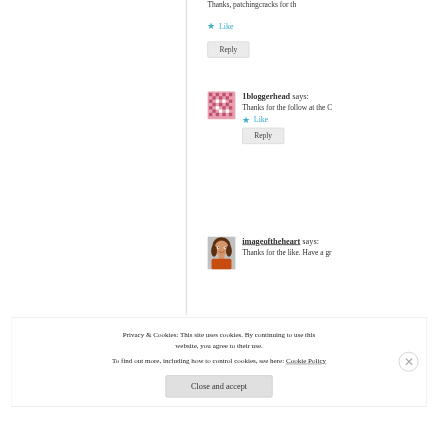Thanks, patchingcracks for th…
★ Like
Reply
[Figure (illustration): Pink pixel-art style avatar icon for user 1bloggerhead]
1bloggerhead says:
Thanks for the follow at the C…
★ Like
Reply
[Figure (photo): Profile photo of a woman with brown hair wearing an orange top — imageoftheheart]
imageoftheheart says:
Thanks for the like. Have a gr…
Privacy & Cookies: This site uses cookies. By continuing to use this website, you agree to their use.
To find out more, including how to control cookies, see here: Cookie Policy
Close and accept